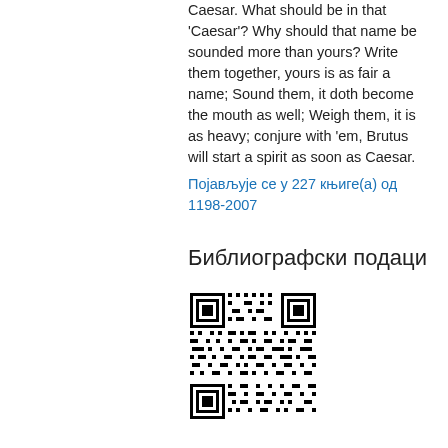Caesar. What should be in that 'Caesar'? Why should that name be sounded more than yours? Write them together, yours is as fair a name; Sound them, it doth become the mouth as well; Weigh them, it is as heavy; conjure with 'em, Brutus will start a spirit as soon as Caesar.
Појављује се у 227 књиге(а) од 1198-2007
Библиографски подаци
[Figure (other): QR code for bibliographic data]